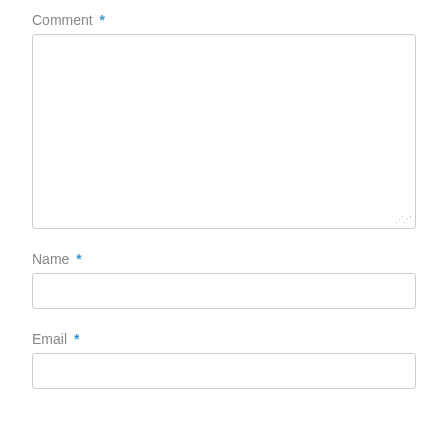Comment *
[Figure (other): Large empty textarea input field for comment entry, with a resize handle in the bottom-right corner]
Name *
[Figure (other): Single-line text input field for name entry]
Email *
[Figure (other): Single-line text input field for email entry (partially visible at bottom)]